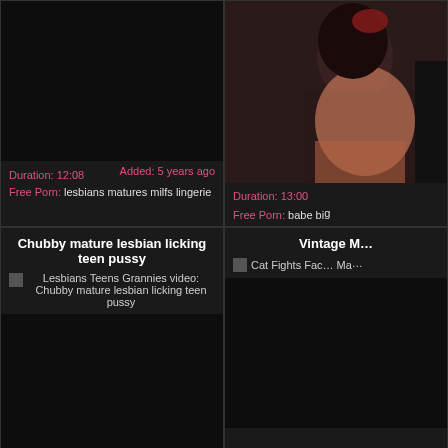[Figure (screenshot): Video thumbnail - dark/black frame, top left card]
Duration: 12:08   Added: 5 years ago
Free Porn: lesbians matures milfs lingerie
[Figure (photo): Video thumbnail showing woman, top right card]
Duration: 13:00
Free Porn: babe big...
Chubby mature lesbian licking teen pussy
Lesbians Teens Grannies video: Chubby mature lesbian licking teen pussy
Vintage M...
Cat Fights Fac... Ma...